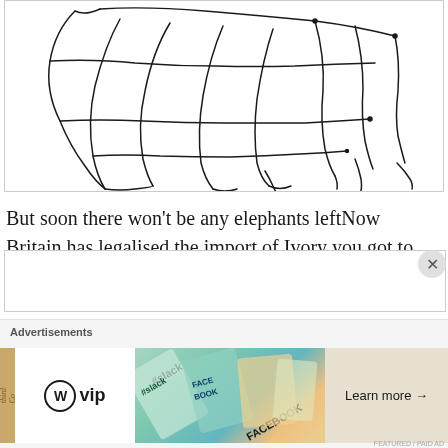[Figure (illustration): Line drawing sketch of an elephant rendered in loose black ink strokes on white background, partially cropped. The drawing shows the elephant's body with curved lines suggesting the large form, legs, and trunk area.]
But soon there won't be any elephants leftNow Britain has legalised the import of Ivory you got to grab it while you can
Advertisements